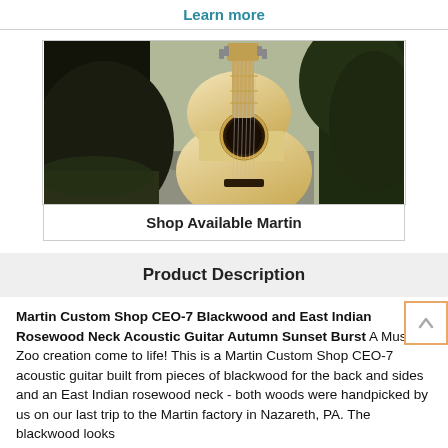Learn more
[Figure (photo): Acoustic guitar (Martin) photographed outdoors near water and foliage, natural/warm tones]
Shop Available Martin
Product Description
Martin Custom Shop CEO-7 Blackwood and East Indian Rosewood Neck Acoustic Guitar Autumn Sunset Burst A Music Zoo creation come to life! This is a Martin Custom Shop CEO-7 acoustic guitar built from pieces of blackwood for the back and sides and an East Indian rosewood neck - both woods were handpicked by us on our last trip to the Martin factory in Nazareth, PA. The blackwood looks